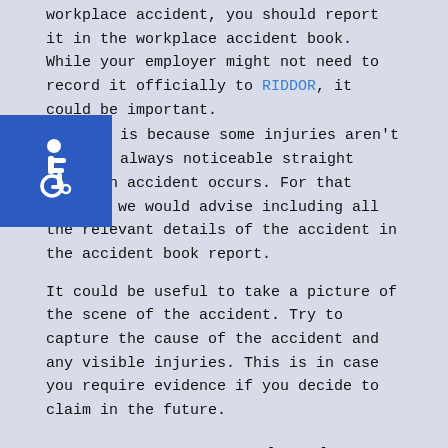workplace accident, you should report it in the workplace accident book. While your employer might not need to record it officially to RIDDOR, it could be important.
[Figure (illustration): Blue square accessibility icon showing wheelchair symbol in white]
This is because some injuries aren't always noticeable straight after an accident occurs. For that reason, we would advise including all the relevant details of the accident in the accident book report.
It could be useful to take a picture of the scene of the accident. Try to capture the cause of the accident and any visible injuries. This is in case you require evidence if you decide to claim in the future.
How Do You Record And Report Workplace Accidents?
In this section, we're going to look at what should be done when a workplace accident occurs. In this section, we're going to supply information that might help you if an injury was caused by the accident.